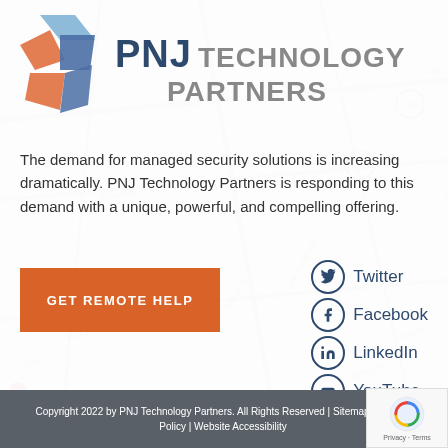[Figure (logo): PNJ Technology Partners logo with stylized P icon in orange and blue, and company name text]
The demand for managed security solutions is increasing dramatically. PNJ Technology Partners is responding to this demand with a unique, powerful, and compelling offering.
[Figure (other): Orange GET REMOTE HELP button]
Twitter
Facebook
LinkedIn
YouTube
Copyright 2022 by PNJ Technology Partners. All Rights Reserved | Sitemap | Privacy Policy | Website Accessibility